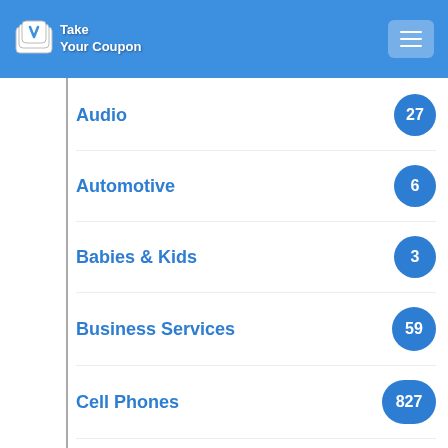Take Your Coupon
Audio 27
Automotive 6
Babies & Kids 3
Business Services 59
Cell Phones 827
Computers & Electronics 2416
Craft & Hobby 13